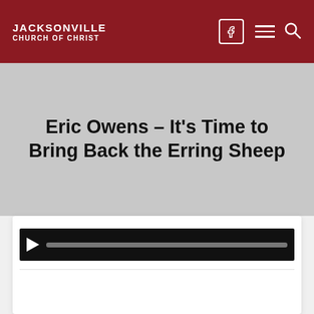JACKSONVILLE CHURCH OF CHRIST
Eric Owens – It's Time to Bring Back the Erring Sheep
[Figure (other): Audio/video player bar with play button and progress track displayed inside a white card panel]